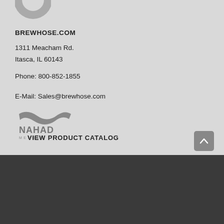[Figure (logo): Circular logo partially visible at top, greyscale]
BREWHOSE.COM
1311 Meacham Rd.
Itasca, IL 60143
Phone: 800-852-1855
E-Mail: Sales@brewhose.com
[Figure (logo): NAHAD MEMBER logo, greyscale]
VIEW PRODUCT CATALOG
[Figure (other): Scroll to top button, grey rounded square with up arrow]
Important Update!
Due to unprecedented material shortages, shipping times may be delayed. Most orders will ship in 5-10 business days.